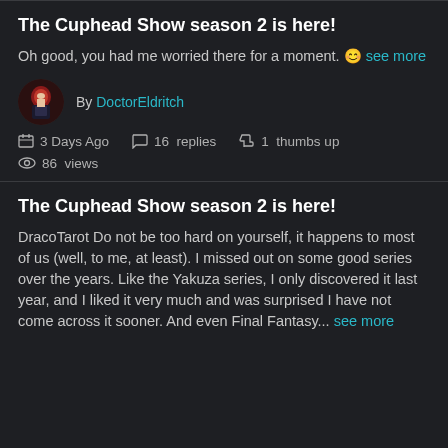The Cuphead Show season 2 is here!
Oh good, you had me worried there for a moment. 🙂 see more
By DoctorEldritch
3 Days Ago   16 replies   1 thumbs up
86 views
The Cuphead Show season 2 is here!
DracoTarot Do not be too hard on yourself, it happens to most of us (well, to me, at least). I missed out on some good series over the years. Like the Yakuza series, I only discovered it last year, and I liked it very much and was surprised I have not come across it sooner. And even Final Fantasy... see more